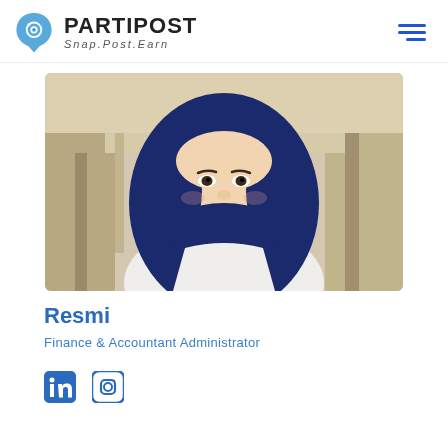PARTIPOST Snap.Post.Earn
[Figure (photo): Profile photo of Resmi, a young woman wearing a dark navy hijab and white shirt, smiling, with an outdoor background.]
Resmi
Finance & Accountant Administrator
[Figure (logo): LinkedIn and Instagram social media icons in blue.]